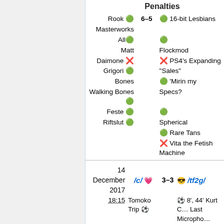Penalties
| Left Team | Score | Right Team |
| --- | --- | --- |
| Rook ✅ | 6–5 | ✅ 16-bit Lesbians |
| Masterworks |  |  |
| All ✅ |  | ✅ |
| Matt |  | Flockmod |
| Daimone ❌ |  | ❌ PS4's Expanding |
| Grigori ✅ |  | "Sales" |
| Bones |  | ✅ 'Mirin my |
| Walking Bones ✅ |  | Specs? |
| Feste ✅ |  | ✅ |
| Riftslut ✅ |  | Spherical |
|  |  | ✅ Rare Tans |
|  |  | ❌ Vita the Fetish Machine |
| Date | Teams | Score | Teams |
| --- | --- | --- | --- |
| 14 December 2017 | /c/ 💗 | 3–3 | 😎 /tf2g/ |
| 18:15 | Tomoko Trip ⚽ |  | ⚽ 8', 44' Kurt C... Last Micropho... |